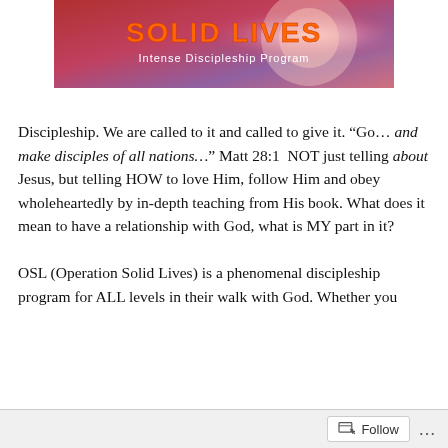[Figure (illustration): Banner image for Operation Solid Lives Intense Discipleship Program, showing bold orange/red text 'SOLID LIVES' with subtitle 'Intense Discipleship Program' on a colorful background with globe imagery]
Discipleship. We are called to it and called to give it. “Go… and make disciples of all nations…” Matt 28:1  NOT just telling about Jesus, but telling HOW to love Him, follow Him and obey wholeheartedly by in-depth teaching from His book. What does it mean to have a relationship with God, what is MY part in it?

OSL (Operation Solid Lives) is a phenomenal discipleship program for ALL levels in their walk with God. Whether you
Follow ...